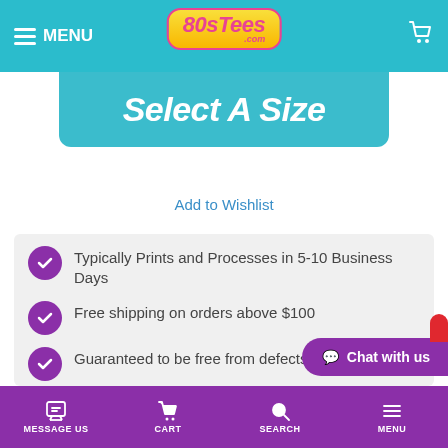MENU | 80sTees.com | [cart icon]
Select A Size
Add to Wishlist
Typically Prints and Processes in 5-10 Business Days
Free shipping on orders above $100
Guaranteed to be free from defects
Printed in the U.S.A.
No questions asked return policy
MESSAGE US  CART  SEARCH  MENU